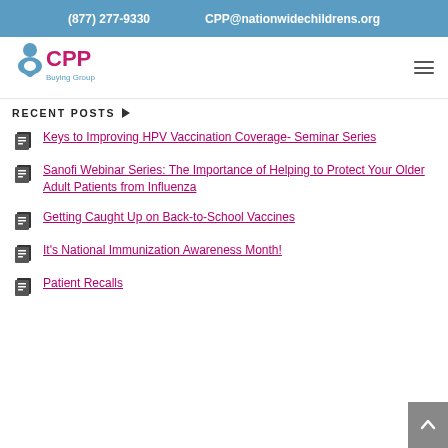(877) 277-9330   CPP@nationwidechildrens.org
[Figure (logo): CPP Buying Group logo with stylized figure icon and CPP text in red/magenta with Buying Group subtitle in blue]
RECENT POSTS
Keys to Improving HPV Vaccination Coverage- Seminar Series
Sanofi Webinar Series: The Importance of Helping to Protect Your Older Adult Patients from Influenza
Getting Caught Up on Back-to-School Vaccines
It's National Immunization Awareness Month!
Patient Recalls